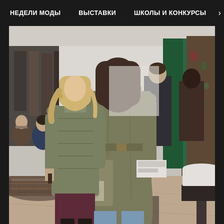НЕДЕЛИ МОДЫ   ВЫСТАВКИ   ШКОЛЫ И КОНКУРСЫ   >
[Figure (photo): Indoor fashion exhibition or trade show scene. Two women standing in the foreground, one wearing an olive/khaki belted wool coat carrying a large tote bag (seen from behind), another in an olive puffer jacket. Background shows clothing racks, fabric displays in green and floral patterns, decorative cushions on the left, white display furniture, and other visitors.]